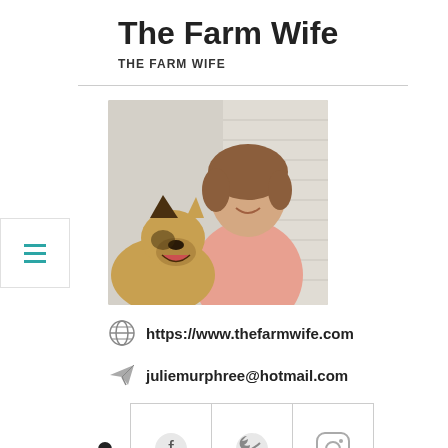The Farm Wife
THE FARM WIFE
[Figure (photo): Profile photo of Julie Murphree smiling, holding or near a German Shepherd dog, wearing a pink top, with white siding in background]
https://www.thefarmwife.com
juliemurphree@hotmail.com
[Figure (infographic): Social media icons row: bullet dot, Facebook icon, Twitter bird icon, Instagram icon in bordered boxes]
Julie Murphree is a blogger, newspaper columnist, and